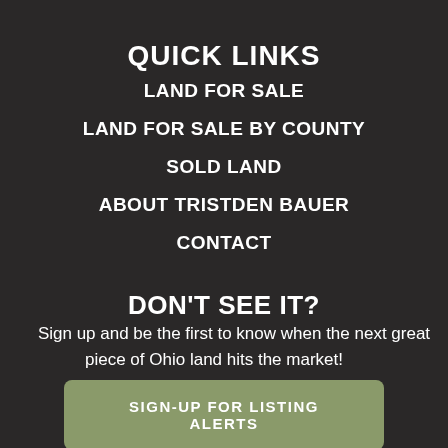QUICK LINKS
LAND FOR SALE
LAND FOR SALE BY COUNTY
SOLD LAND
ABOUT TRISTDEN BAUER
CONTACT
DON'T SEE IT?
Sign up and be the first to know when the next great piece of Ohio land hits the market!
SIGN-UP FOR LISTING ALERTS